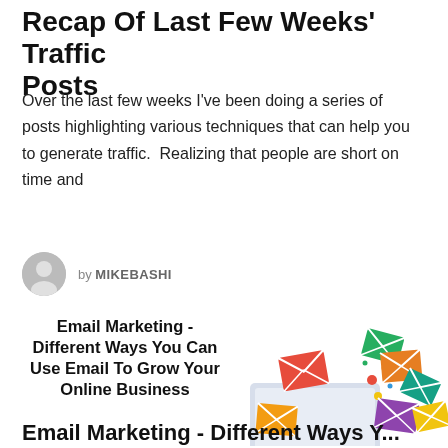Recap Of Last Few Weeks' Traffic Posts
Over the last few weeks I've been doing a series of posts highlighting various techniques that can help you to generate traffic.  Realizing that people are short on time and
by MIKEBASHI
Email Marketing - Different Ways You Can Use Email To Grow Your Online Business
[Figure (illustration): Colorful email envelopes flying out of a laptop computer, representing email marketing]
Email Marketing - Different Ways You...